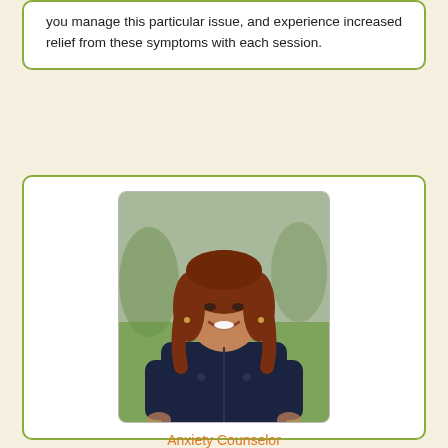you manage this particular issue, and experience increased relief from these symptoms with each session.
[Figure (photo): Professional headshot of Barbara Jaurequi, a woman with auburn/red hair wearing a dark navy zip-up jacket, smiling, photographed outdoors with green grass and trees in background.]
Anxiety Counselor
Barbara Jaurequi, MS, LMFT, MAC
Licensed Marriage and Family Therapist